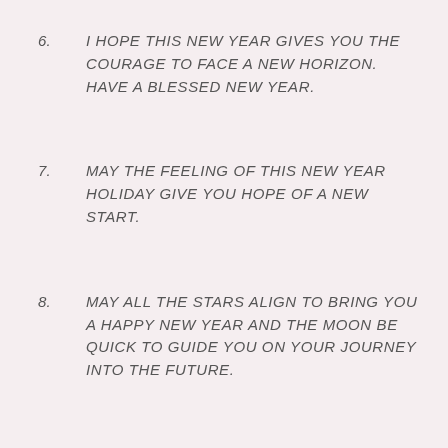6. I HOPE THIS NEW YEAR GIVES YOU THE COURAGE TO FACE A NEW HORIZON. HAVE A BLESSED NEW YEAR.
7. MAY THE FEELING OF THIS NEW YEAR HOLIDAY GIVE YOU HOPE OF A NEW START.
8. MAY ALL THE STARS ALIGN TO BRING YOU A HAPPY NEW YEAR AND THE MOON BE QUICK TO GUIDE YOU ON YOUR JOURNEY INTO THE FUTURE.